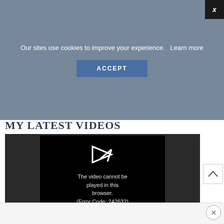Our sites use cookies to improve your experience.   Learn more
ACCEPT
MY LATEST VIDEOS
[Figure (screenshot): Video player showing error: The video cannot be played in this browser. (Error Code: 242632)]
The video cannot be played in this browser. (Error Code: 242632)